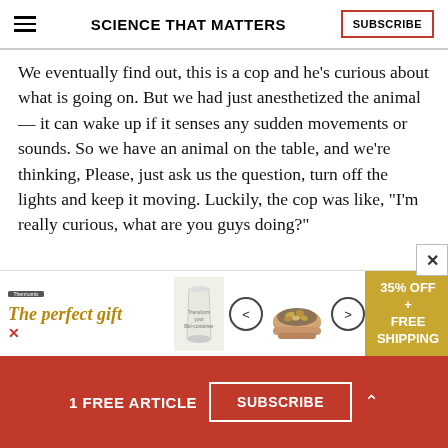SCIENCE THAT MATTERS
We eventually find out, this is a cop and he's curious about what is going on. But we had just anesthetized the animal — it can wake up if it senses any sudden movements or sounds. So we have an animal on the table, and we're thinking, Please, just ask us the question, turn off the lights and keep it moving. Luckily, the cop was like, "I'm really curious, what are you guys doing?"
[Figure (infographic): Advertisement banner: The perfect gift — Thermomix promotional banner with 35% OFF + FREE SHIPPING]
1 FREE ARTICLE  SUBSCRIBE